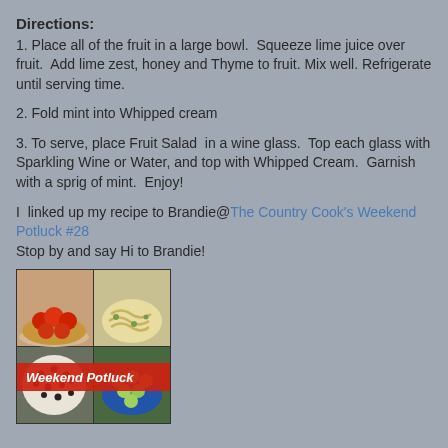Directions:
1. Place all of the fruit in a large bowl.  Squeeze lime juice over fruit.  Add lime zest, honey and Thyme to fruit. Mix well. Refrigerate until serving time.
2. Fold mint into Whipped cream
3. To serve, place Fruit Salad  in a wine glass.  Top each glass with Sparkling Wine or Water, and top with Whipped Cream.  Garnish with a sprig of mint.  Enjoy!
I  linked up my recipe to Brandie@The Country Cook's Weekend Potluck #28
Stop by and say Hi to Brandie!
[Figure (photo): Weekend Potluck collage showing four food photos with a red banner reading 'Weekend Potluck']